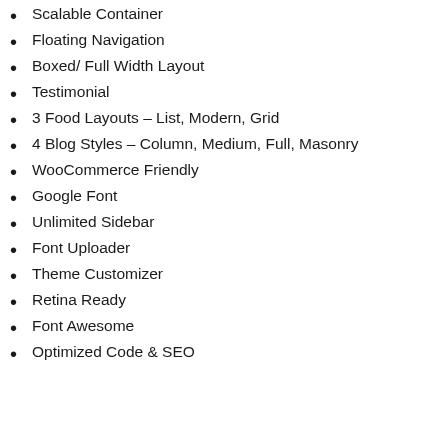Scalable Container
Floating Navigation
Boxed/ Full Width Layout
Testimonial
3 Food Layouts – List, Modern, Grid
4 Blog Styles – Column, Medium, Full, Masonry
WooCommerce Friendly
Google Font
Unlimited Sidebar
Font Uploader
Theme Customizer
Retina Ready
Font Awesome
Optimized Code & SEO